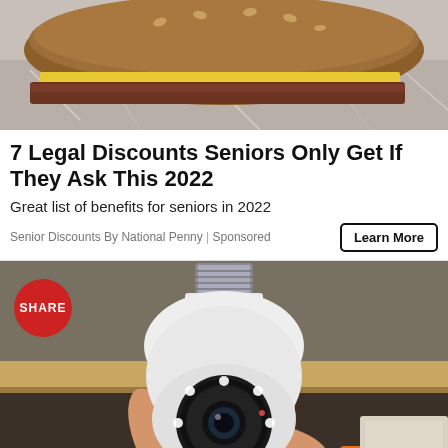[Figure (photo): Close-up photo of a burger/sandwich with cheese on foil wrapping, cropped at top]
7 Legal Discounts Seniors Only Get If They Ask This 2022
Great list of benefits for seniors in 2022
Senior Discounts By National Penny | Sponsored
Learn More
[Figure (photo): Hand holding a white light-bulb shaped security camera with a circular lens and LED ring, metal screw base at top. A red circular SHARE badge overlays the top-left corner.]